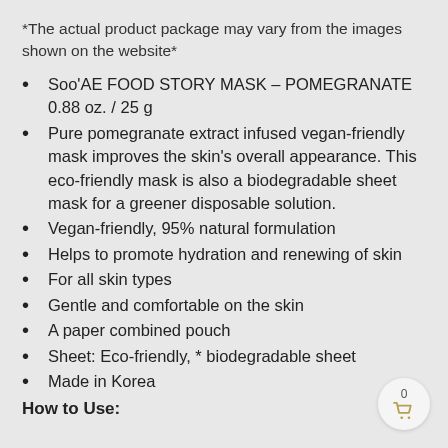*The actual product package may vary from the images shown on the website*
Soo'AE FOOD STORY MASK – POMEGRANATE 0.88 oz. / 25 g
Pure pomegranate extract infused vegan-friendly mask improves the skin's overall appearance. This eco-friendly mask is also a biodegradable sheet mask for a greener disposable solution.
Vegan-friendly, 95% natural formulation
Helps to promote hydration and renewing of skin
For all skin types
Gentle and comfortable on the skin
A paper combined pouch
Sheet: Eco-friendly, * biodegradable sheet
Made in Korea
How to Use: